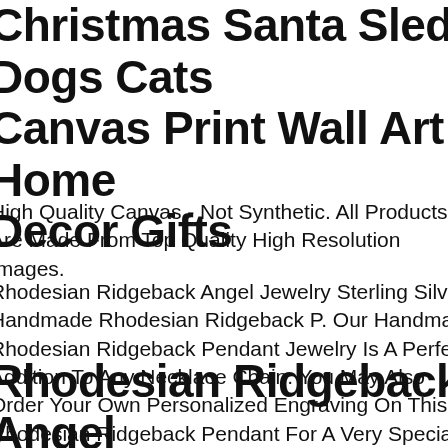Christmas Santa Sled Dogs Cats Canvas Print Wall Art Home Decor Gifts
High Quality Canvas - Not Synthetic. All Products Are Made From Top Quality High Resolution Images.
Rhodesian Ridgeback Angel Jewelry Sterling Silver Handmade Rhodesian Ridgeback P. Our Handmade Rhodesian Ridgeback Pendant Jewelry Is A Perfect Addition To Any Necklace Chain. You May Also Order Your Own Personalized Engraving On This Rhodesian Ridgeback Pendant For A Very Special Personal Touch.
Rhodesian Ridgeback Angel Pendant Jewelry Silver And 14k Gold Handmade Dog Penda